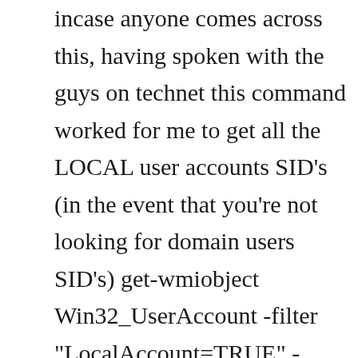incase anyone comes across this, having spoken with the guys on technet this command worked for me to get all the LOCAL user accounts SID's (in the event that you're not looking for domain users SID's) get-wmiobject Win32_UserAccount -filter "LocalAccount=TRUE" -computer COMPUTERNAME | out-file -filepath C:\Results.txtJun 18, 2019 · PrincipalContext ctx = new PrincipalContext(ContextType.Domain); //